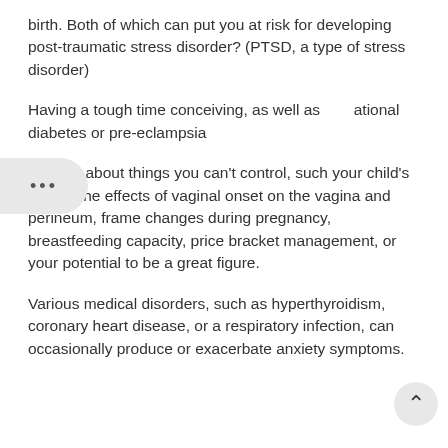birth. Both of which can put you at risk for developing post-traumatic stress disorder? (PTSD, a type of stress disorder)
Having a tough time conceiving, as well as gestational diabetes or pre-eclampsia
Worries about things you can't control, such your child's health, the effects of vaginal onset on the vagina and perineum, frame changes during pregnancy, breastfeeding capacity, price bracket management, or your potential to be a great figure.
Various medical disorders, such as hyperthyroidism, coronary heart disease, or a respiratory infection, can occasionally produce or exacerbate anxiety symptoms.